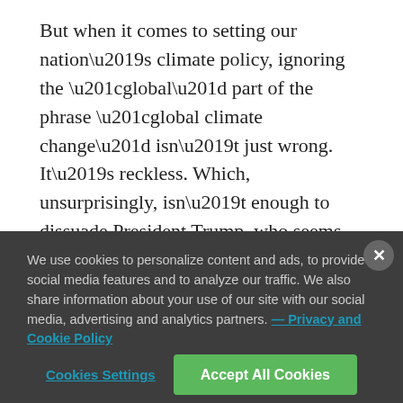But when it comes to setting our nation's climate policy, ignoring the "global" part of the phrase "global climate change" isn't just wrong. It's reckless. Which, unsurprisingly, isn't enough to dissuade President Trump, who seems perfectly happy to mess up the means by which we calculate the social costs of carbon pollution.
One of the very first things President Ronald Reagan did
We use cookies to personalize content and ads, to provide social media features and to analyze our traffic. We also share information about your use of our site with our social media, advertising and analytics partners. — Privacy and Cookie Policy
Cookies Settings | Accept All Cookies